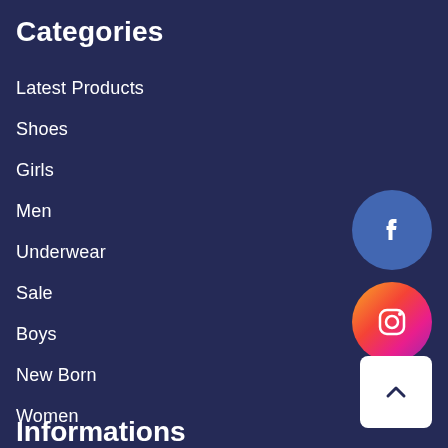Categories
Latest Products
Shoes
Girls
Men
Underwear
Sale
Boys
New Born
Women
Accessories
[Figure (logo): Facebook circular icon button in blue]
[Figure (logo): Instagram circular icon button with gradient from orange to pink to purple]
[Figure (other): Back to top button, white rounded square with upward chevron arrow]
Informations